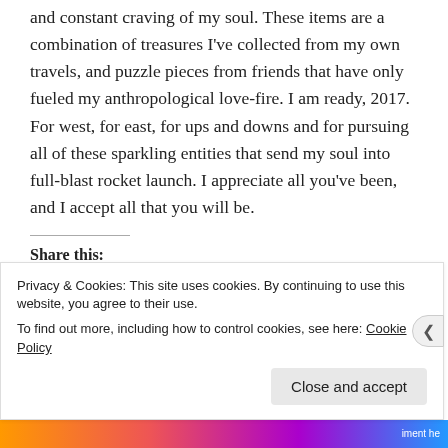and constant craving of my soul. These items are a combination of treasures I've collected from my own travels, and puzzle pieces from friends that have only fueled my anthropological love-fire. I am ready, 2017. For west, for east, for ups and downs and for pursuing all of these sparkling entities that send my soul into full-blast rocket launch. I appreciate all you've been, and I accept all that you will be.
Share this:
[Figure (other): Twitter Tweet button (blue pill-shaped button with bird icon and 'Tweet' text)]
Privacy & Cookies: This site uses cookies. By continuing to use this website, you agree to their use. To find out more, including how to control cookies, see here: Cookie Policy
Close and accept